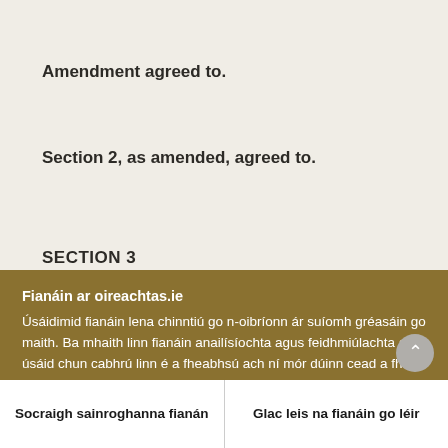Amendment agreed to.
Section 2, as amended, agreed to.
SECTION 3
Fianáin ar oireachtas.ie
Úsáidimid fianáin lena chinntiú go n-oibríonn ár suíomh gréasáin go maith. Ba mhaith linn fianáin anailísíochta agus feidhmiúlachta a úsáid chun cabhrú linn é a fheabhsú ach ní mór dúinn cead a fháil uait sin a dhéanamh. Mura bhfuil tú sásta cead a thabhairt, ní úsáidfear ach fianáin riachtanacha. Léigh tuileadh faoinár bhfianáin
Socraigh sainroghanna fianán
Glac leis na fianáin go léir